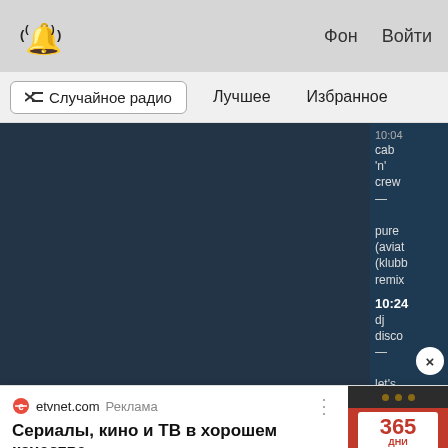((🔔)) Фон Войти
⇌ Случайное радио   Лучшее   Избранное
[Figure (screenshot): Dark blue radio player panel showing track info sidebar with timestamps 10:04 and 10:24, text: cab 'n' crew — pure (aviat (klubb remix), dj disco — let's, with a close X button]
etvnet.com Реклама
Сериалы, кино и ТВ в хорошем качестве
Большая коллекция фильмов и сериалов. Доступ на любом устройстве. Присоединяйтесь!